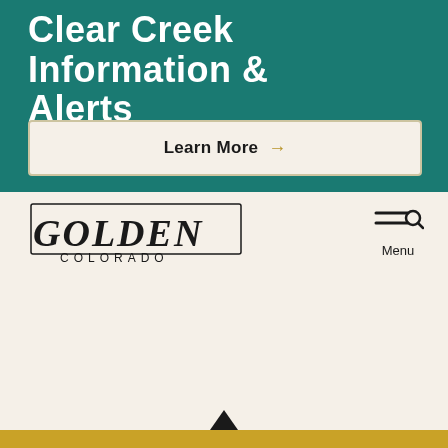Clear Creek Information & Alerts
Learn More →
[Figure (logo): Golden Colorado city logo with stylized text 'GOLDEN' and 'COLORADO' below]
Menu